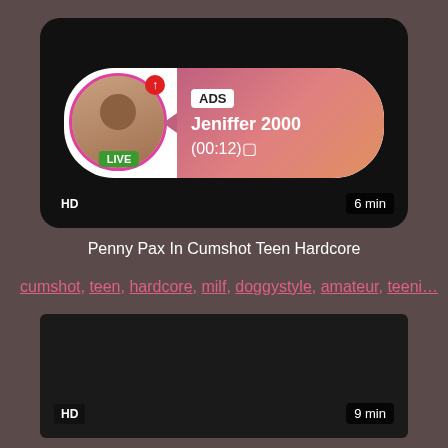[Figure (screenshot): Ad banner with live avatar, LIVE badge, ADS label, name Jeniffer 2000, time (00:12), HD badge, 6 min badge]
Penny Pax In Cumshot Teen Hardcore
cumshot, teen, hardcore, milf, doggystyle, amateur, teeni...
[Figure (screenshot): Dark video thumbnail with HD badge bottom-left and 9 min badge bottom-right]